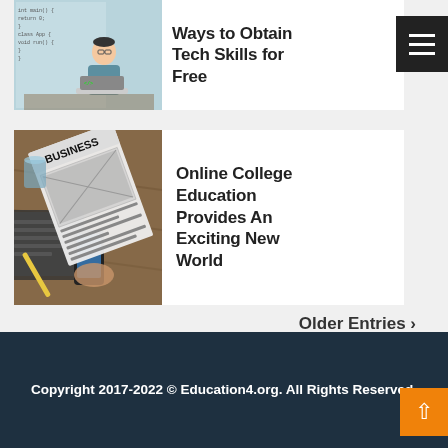[Figure (illustration): Illustration of a developer/programmer sitting at a laptop with code on screen and background code text]
Ways to Obtain Tech Skills for Free
[Figure (photo): Photo of a person reading a business newspaper, with a laptop and phone on a wooden desk]
Online College Education Provides An Exciting New World
Older Entries ›
Copyright 2017-2022 © Education4.org. All Rights Reserved.